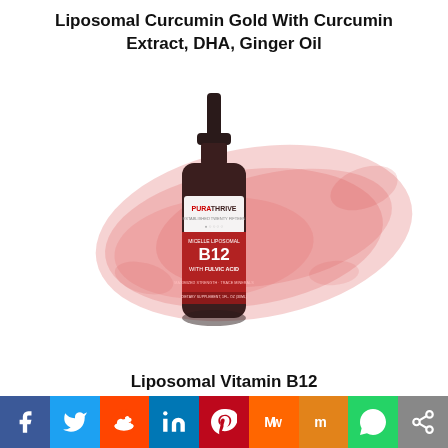Liposomal Curcumin Gold With Curcumin Extract, DHA, Ginger Oil
[Figure (photo): PuraThrive Micelle Liposomal B12 with Fulvic Acid supplement bottle with pump dispenser on a red watercolor splash background]
Liposomal Vitamin B12
[Figure (infographic): Social sharing bar with Facebook, Twitter, Reddit, LinkedIn, Pinterest, MeWe, Mix, WhatsApp, and Share icons]